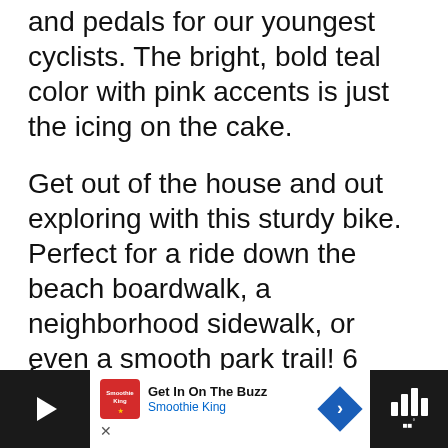and pedals for our youngest cyclists. The bright, bold teal color with pink accents is just the icing on the cake.
Get out of the house and out exploring with this sturdy bike. Perfect for a ride down the beach boardwalk, a neighborhood sidewalk, or even a smooth park trail! 6 year old girls will love the flower handlebars and attached pouch for packing a snack, toys, or whatever else is needed for a neighborhood excursion. Send your favorite 6 year old off in style in this gorgeous teal cruiser. Just don't fo...
[Figure (other): Advertisement banner for Smoothie King: 'Get In On The Buzz - Smoothie King' with play button, logo, navigation diamond icon, and audio bars icon on dark backgrounds.]